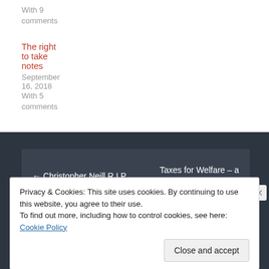With 9 comments
June 9, 2016
With 8 comments
The right to take notes
September 16, 2018
With 5 comments
← Christopher Neill R.I.P.
Taxes for Welfare – a petition to the
Privacy & Cookies: This site uses cookies. By continuing to use this website, you agree to their use.
To find out more, including how to control cookies, see here: Cookie Policy
Close and accept